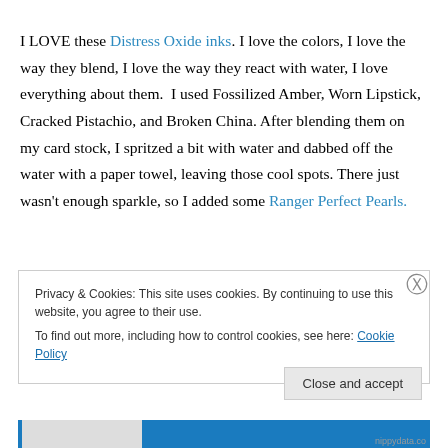I LOVE these Distress Oxide inks. I love the colors, I love the way they blend, I love the way they react with water, I love everything about them.  I used Fossilized Amber, Worn Lipstick, Cracked Pistachio, and Broken China. After blending them on my card stock, I spritzed a bit with water and dabbed off the water with a paper towel, leaving those cool spots. There just wasn't enough sparkle, so I added some Ranger Perfect Pearls.
Privacy & Cookies: This site uses cookies. By continuing to use this website, you agree to their use. To find out more, including how to control cookies, see here: Cookie Policy